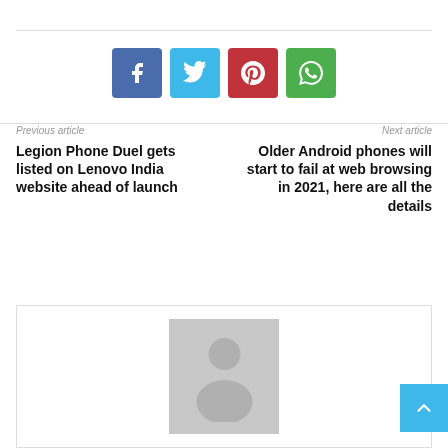[Figure (other): Social share buttons row: Facebook (blue), Twitter (light blue), Pinterest (red), WhatsApp (green)]
Previous article
Legion Phone Duel gets listed on Lenovo India website ahead of launch
Next article
Older Android phones will start to fail at web browsing in 2021, here are all the details
[Figure (photo): Default author avatar placeholder — grey silhouette of a person on grey background]